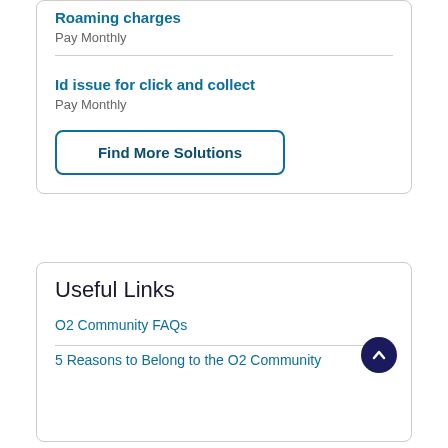Roaming charges
Pay Monthly
Id issue for click and collect
Pay Monthly
Find More Solutions
Useful Links
O2 Community FAQs
5 Reasons to Belong to the O2 Community